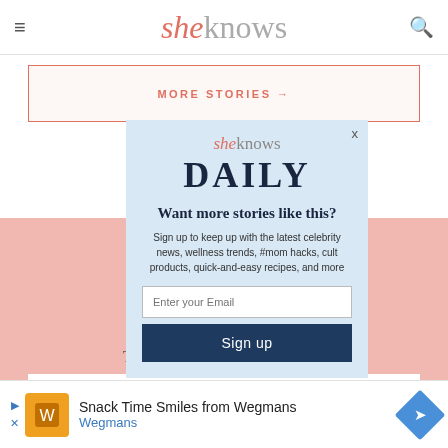sheknows
MORE STORIES →
[Figure (screenshot): SheKnows Daily newsletter signup modal overlay on a pink-background webpage section. Modal contains sheknows logo, DAILY heading, Want more stories like this? headline, descriptive text, email input field, and Sign up button.]
The st... daily.
Your email
Snack Time Smiles from Wegmans
Wegmans